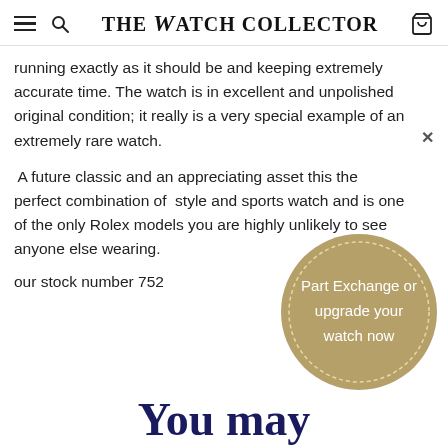THE WATCH COLLECTOR
running exactly as it should be and keeping extremely accurate time. The watch is in excellent and unpolished original condition; it really is a very special example of an extremely rare watch.
A future classic and an appreciating asset this the perfect combination of style and sports watch and is one of the only Rolex models you are highly unlikely to see anyone else wearing.
our stock number 752
[Figure (infographic): Gold/tan circular badge with dashed border and text 'Part Exchange or upgrade your watch now']
You may